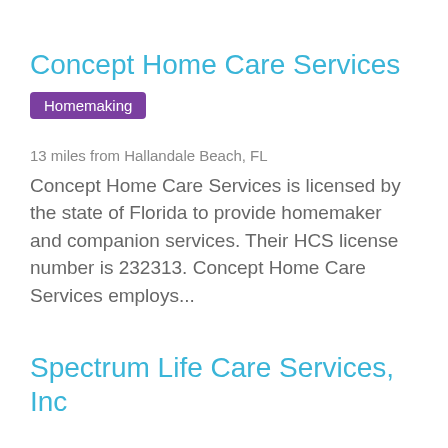Concept Home Care Services
Homemaking
13 miles from Hallandale Beach, FL
Concept Home Care Services is licensed by the state of Florida to provide homemaker and companion services. Their HCS license number is 232313. Concept Home Care Services employs...
Spectrum Life Care Services, Inc
Homemaking